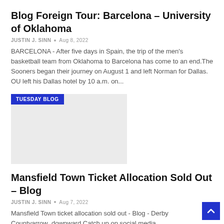Blog Foreign Tour: Barcelona – University of Oklahoma
JUSTIN J. SINN • Aug 8, 2022
BARCELONA - After five days in Spain, the trip of the men's basketball team from Oklahoma to Barcelona has come to an end.The Sooners began their journey on August 1 and left Norman for Dallas. OU left his Dallas hotel by 10 a.m. on...
[Figure (photo): Image placeholder with TUESDAY BLOG badge in blue]
Mansfield Town Ticket Allocation Sold Out – Blog
JUSTIN J. SINN • Aug 7, 2022
Mansfield Town ticket allocation sold out - Blog - Derby Countyarrow_downward Catch up on social media arrow_downwardOpen